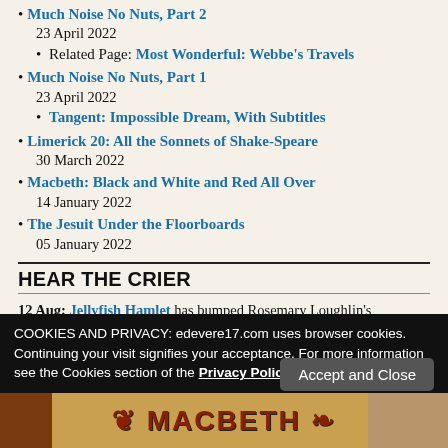Much Noise No Nuts, Part 2
23 April 2022
Related Page: Most Wonderful: Webbe's Travels
Much Noise No Nuts, Part 1
23 April 2022
Tangent: Impossible Dream, With Subtitles
Limerick 20: All the Sonnets of Shake-Speare
30 March 2022
Macbeth: Black and White and Red All Over
14 January 2022
The Jesuit Under the Floorboards
05 January 2022
HEAR THE CRIER
12 Aug: Jellyfish Hamlet has bumped Rosemary Loughlin's Fri…
COOKIES AND PRIVACY: edevere17.com uses browser cookies. Continuing your visit signifies your acceptance. For more information see the Cookies section of the Privacy Policy.
[Figure (photo): Bottom strip showing partial book/poster imagery in orange and brown tones with red stylized text]